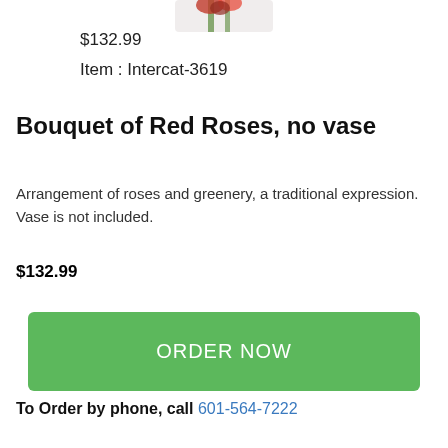[Figure (photo): Partial view of a bouquet of red roses product image, cropped at top of page]
$132.99
Item : Intercat-3619
Bouquet of Red Roses, no vase
Arrangement of roses and greenery, a traditional expression. Vase is not included.
$132.99
ORDER NOW
To Order by phone, call 601-564-7222